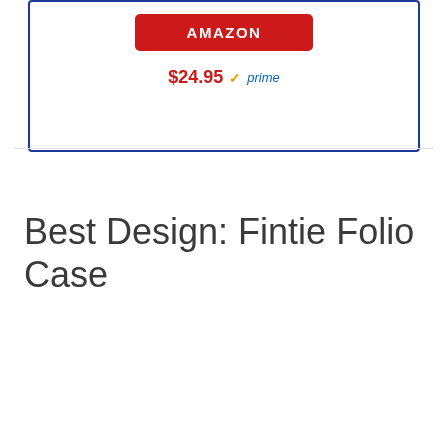[Figure (screenshot): Amazon buy button (red) and price $24.95 with Prime logo inside a blue-bordered card box]
Best Design: Fintie Folio Case